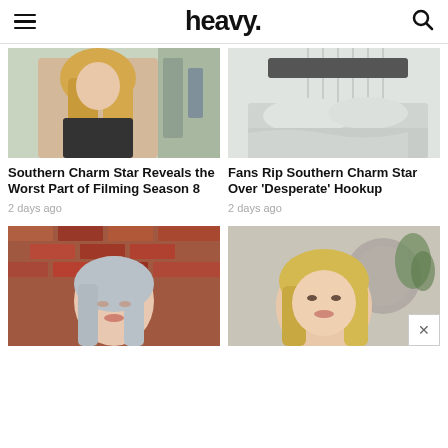heavy.
[Figure (photo): Woman with long blonde hair, outdoors, dark clothing, Southern Charm TV show still]
[Figure (photo): Unmade bed with grey/white pillows and bedding]
Southern Charm Star Reveals the Worst Part of Filming Season 8
2 days ago
Fans Rip Southern Charm Star Over 'Desperate' Hookup
2 days ago
[Figure (photo): Woman with silver/grey hair in front of red brick wall]
[Figure (photo): Woman with long blonde hair in front of blurred background]